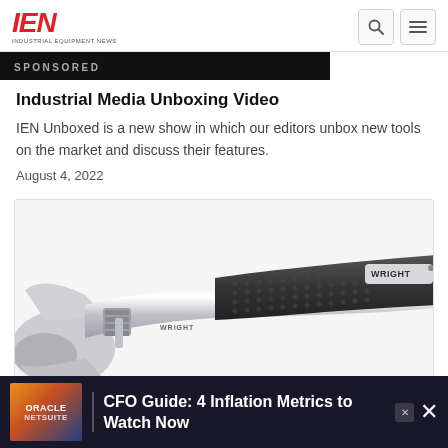IEN - Industrial Equipment News
SPONSORED
Industrial Media Unboxing Video
IEN Unboxed is a new show in which our editors unbox new tools on the market and discuss their features.
August 4, 2022
[Figure (photo): Close-up photo of a WRIGHT adjustable wrench with black rubber grip handle, showing chrome-plated jaws and adjustment mechanism]
[Figure (infographic): Oracle NetSuite advertisement banner: CFO Guide: 4 Inflation Metrics to Watch Now]